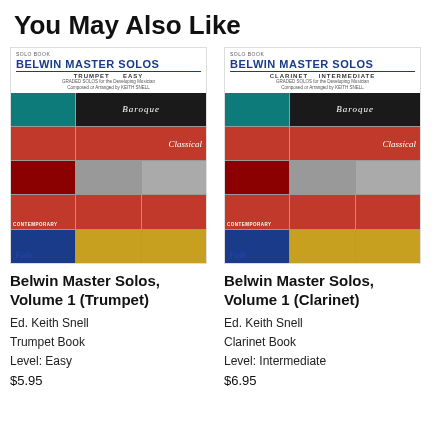You May Also Like
[Figure (illustration): Book cover for Belwin Master Solos Volume 1 Trumpet Easy - shows a grid of colored photo panels labeled Baroque, Classical, Contemporary, Folk]
Belwin Master Solos, Volume 1 (Trumpet)
Ed. Keith Snell
Trumpet Book
Level: Easy
$5.95
[Figure (illustration): Book cover for Belwin Master Solos Volume 1 Clarinet Intermediate - shows a grid of colored photo panels labeled Baroque, Classical, Contemporary, Folk]
Belwin Master Solos, Volume 1 (Clarinet)
Ed. Keith Snell
Clarinet Book
Level: Intermediate
$6.95